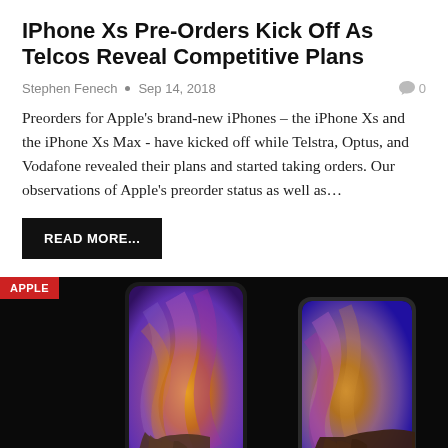IPhone Xs Pre-Orders Kick Off As Telcos Reveal Competitive Plans
Stephen Fenech • Sep 14, 2018   💬 0
Preorders for Apple's brand-new iPhones – the iPhone Xs and the iPhone Xs Max - have kicked off while Telstra, Optus, and Vodafone revealed their plans and started taking orders. Our observations of Apple's preorder status as well as…
READ MORE...
[Figure (photo): Two iPhone Xs models held in hands against a black background, showing colorful abstract wallpapers on their screens. A red 'APPLE' badge appears in the top-left corner.]